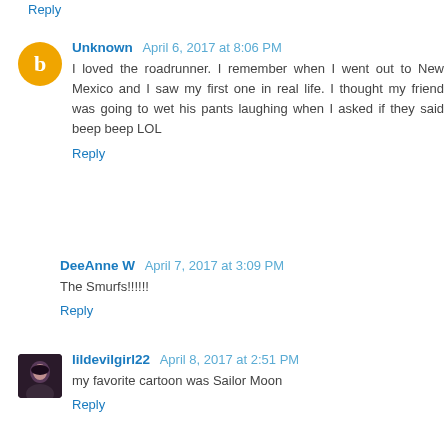Reply
Unknown  April 6, 2017 at 8:06 PM
I loved the roadrunner. I remember when I went out to New Mexico and I saw my first one in real life. I thought my friend was going to wet his pants laughing when I asked if they said beep beep LOL
Reply
DeeAnne W  April 7, 2017 at 3:09 PM
The Smurfs!!!!!!
Reply
lildevilgirl22  April 8, 2017 at 2:51 PM
my favorite cartoon was Sailor Moon
Reply